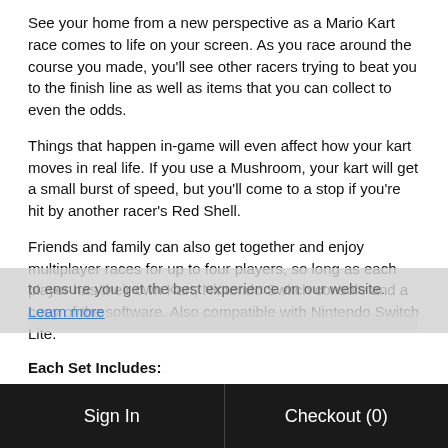See your home from a new perspective as a Mario Kart race comes to life on your screen. As you race around the course you made, you'll see other racers trying to beat you to the finish line as well as items that you can collect to even the odds.
Things that happen in-game will even affect how your kart moves in real life. If you use a Mushroom, your kart will get a small burst of speed, but you'll come to a stop if you're hit by another racer's Red Shell.
Friends and family can also get together and enjoy multiplayer races for up to four players, so long as each player has their own Kart, Nintendo Switch console and a copy of the software. Also compatible with Nintendo Switch Lite.
Each Set Includes:
Kart x 1
Gates x 4
Arrow markers x 2
Sign In | Checkout (0)